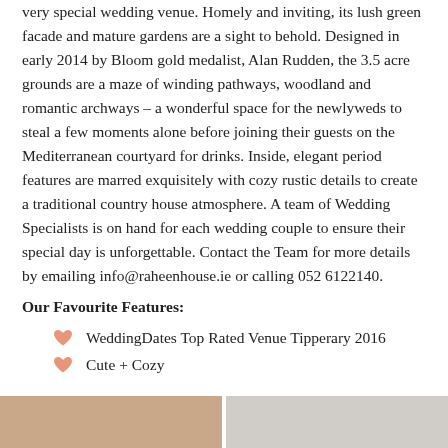very special wedding venue. Homely and inviting, its lush green facade and mature gardens are a sight to behold. Designed in early 2014 by Bloom gold medalist, Alan Rudden, the 3.5 acre grounds are a maze of winding pathways, woodland and romantic archways – a wonderful space for the newlyweds to steal a few moments alone before joining their guests on the Mediterranean courtyard for drinks. Inside, elegant period features are marred exquisitely with cozy rustic details to create a traditional country house atmosphere. A team of Wedding Specialists is on hand for each wedding couple to ensure their special day is unforgettable. Contact the Team for more details by emailing info@raheenhouse.ie or calling 052 6122140.
Our Favourite Features:
WeddingDates Top Rated Venue Tipperary 2016
Cute + Cozy
[Figure (photo): Two partial photo thumbnails visible at bottom of page]